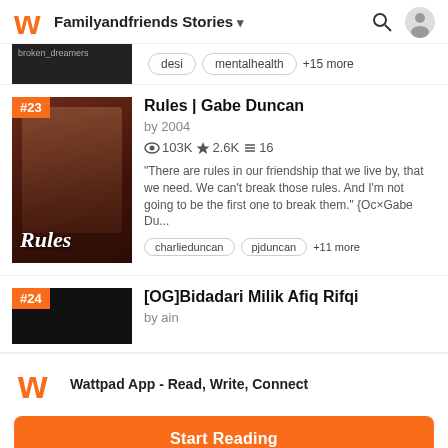Familyandfriends Stories
desi  mentalhealth  +15 more
Rules | Gabe Duncan
by 2004
103K ★2.6K ≡ 16
"There are rules in our friendship that we live by, that we need. We can't break those rules. And I'm not going to be the first one to break them." {Oc×Gabe Du...
charlieduncan  pjduncan  +11 more
[OG]Bidadari Milik Afiq Rifqi
by ain
Wattpad App - Read, Write, Connect
Start Reading
Log in with Browser